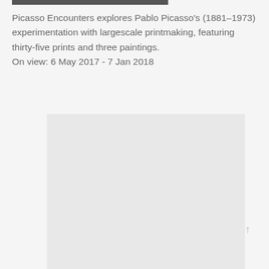PICASSO ENCOUNTERS
Picasso Encounters explores Pablo Picasso's (1881–1973) experimentation with largescale printmaking, featuring thirty-five prints and three paintings.
On view: 6 May 2017 - 7 Jan 2018
[Figure (photo): A faded/washed out photograph or artwork image, light grey rectangle placeholder for a Picasso artwork.]